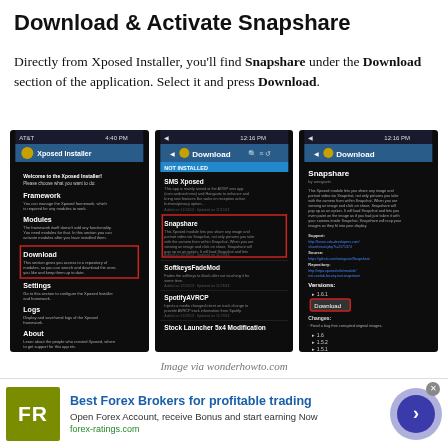Download & Activate Snapshare
Directly from Xposed Installer, you'll find Snapshare under the Download section of the application. Select it and press Download.
[Figure (screenshot): Three Android smartphone screenshots showing the Xposed Installer app: first showing the main menu with Download highlighted, second showing the Download section with Snapshare listed, third showing the Snapshare module detail page with a Download button for version 1.6.1]
Image via wonderhowto.com
[Figure (infographic): Advertisement banner for Best Forex Brokers for profitable trading by forex-ratings.com, featuring FR logo in olive/yellow-green square, ad text, and a circular arrow button]